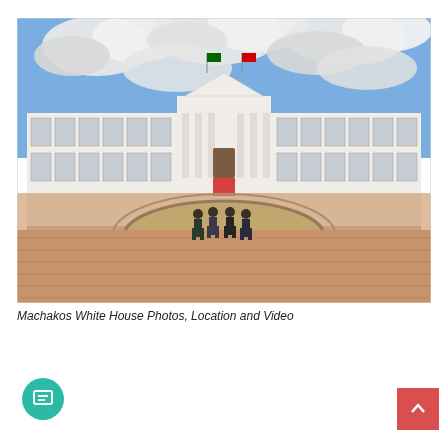[Figure (photo): Photograph of Machakos White House (county governor's office) — a large two-storey white neoclassical building with columns, flags on the roof, and a circular roundabout driveway in front. Four people in suits and masks stand on the roundabout in front of the red carpet entrance. The foreground shows a wide brick-paved courtyard under a partly cloudy sky.]
Machakos White House Photos, Location and Video